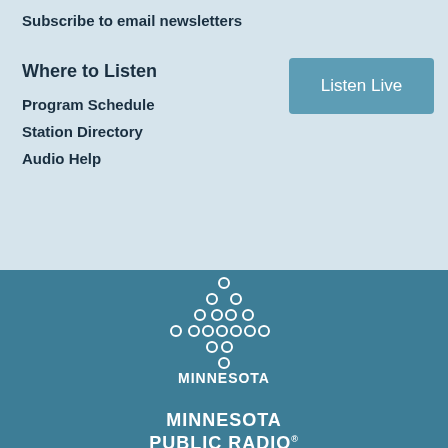Subscribe to email newsletters
Where to Listen
Program Schedule
Station Directory
Audio Help
[Figure (logo): Minnesota Public Radio logo with dot pattern above text reading MINNESOTA PUBLIC RADIO with registered trademark symbol]
ON AIR 0:00 The Takeaway with Melissa H Open In Popup